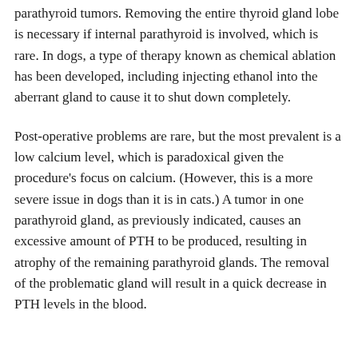parathyroid tumors. Removing the entire thyroid gland lobe is necessary if internal parathyroid is involved, which is rare. In dogs, a type of therapy known as chemical ablation has been developed, including injecting ethanol into the aberrant gland to cause it to shut down completely.
Post-operative problems are rare, but the most prevalent is a low calcium level, which is paradoxical given the procedure's focus on calcium. (However, this is a more severe issue in dogs than it is in cats.) A tumor in one parathyroid gland, as previously indicated, causes an excessive amount of PTH to be produced, resulting in atrophy of the remaining parathyroid glands. The removal of the problematic gland will result in a quick decrease in PTH levels in the blood.